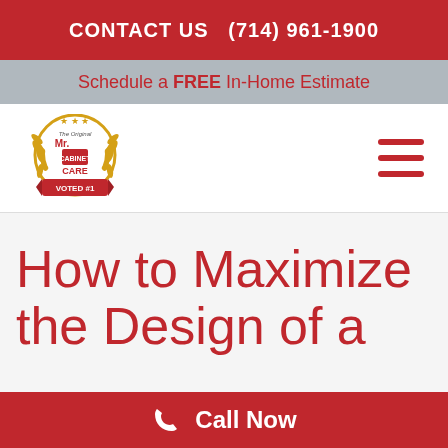CONTACT US   (714) 961-1900
Schedule a FREE In-Home Estimate
[Figure (logo): Mr. Cabinet Care logo — circular badge with laurel wreath, text 'Mr. Cabinet Care The Original', 'VOTED #1' on red ribbon banner, gold and red colors]
How to Maximize the Design of a
Call Now